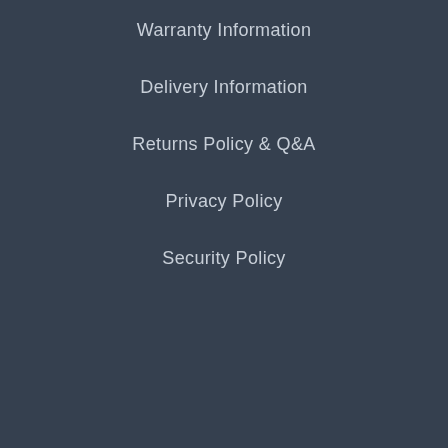Warranty Information
Delivery Information
Returns Policy & Q&A
Privacy Policy
Security Policy